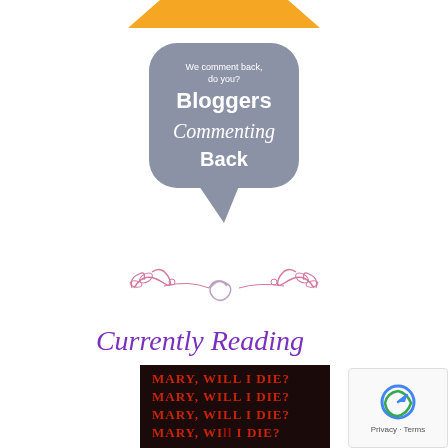[Figure (illustration): Orange decorative banner/chevron shape at the top of the page]
[Figure (logo): Bloggers Commenting Back badge — a grey speech bubble shape with white text reading 'We comment back, do you? Bloggers Commenting Back']
[Figure (illustration): Pink/rose decorative floral scroll divider]
Currently Reading
[Figure (photo): Dark book cover with red neon-style text repeating 'MARY, WILL I DIE?' four times]